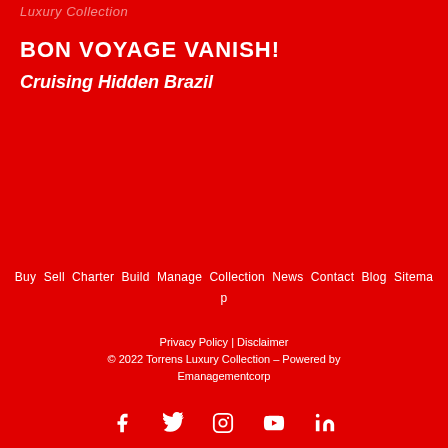Luxury Collection
BON VOYAGE VANISH!
Cruising Hidden Brazil
Buy  Sell  Charter  Build  Manage  Collection  News  Contact  Blog  Sitemap
Privacy Policy | Disclaimer
© 2022 Torrens Luxury Collection – Powered by Emanagementcorp
[Figure (other): Social media icons: Facebook, Twitter, Instagram, YouTube, LinkedIn]